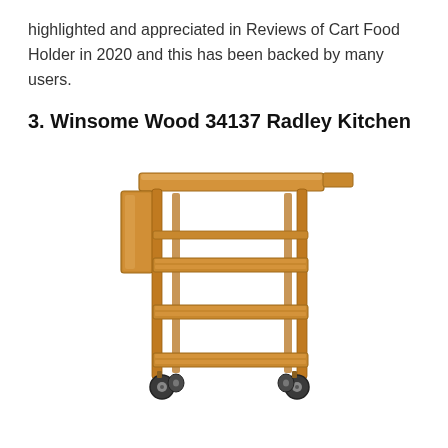highlighted and appreciated in Reviews of Cart Food Holder in 2020 and this has been backed by many users.
3. Winsome Wood 34137 Radley Kitchen
[Figure (photo): A wooden kitchen cart with a fold-out top surface, two lower slatted shelves, a side drawer or drop-leaf panel, and four caster wheels. The cart is made of light natural wood (honey/oak finish).]